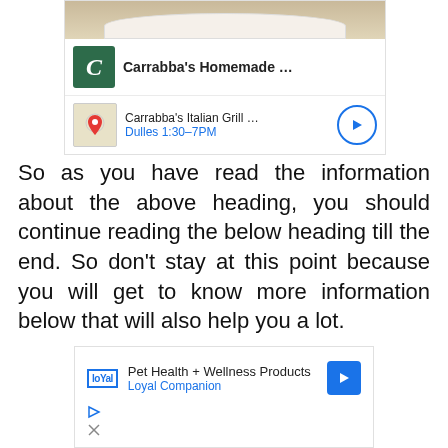[Figure (screenshot): Carrabba's Homemade restaurant listing card with logo and map row showing Carrabba's Italian Grill in Dulles, 1:30-7PM with navigation arrow]
So as you have read the information about the above heading, you should continue reading the below heading till the end. So don't stay at this point because you will get to know more information below that will also help you a lot.
[Figure (screenshot): Pet Health + Wellness Products ad for Loyal Companion with navigation arrow and play/close icons]